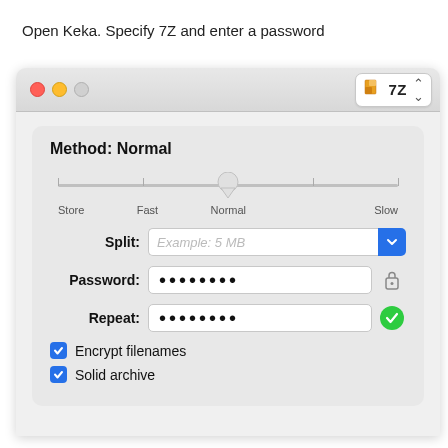Open Keka. Specify 7Z and enter a password
[Figure (screenshot): macOS Keka application window showing 7Z format selected, with compression method slider set to Normal, Split field with placeholder 'Example: 5 MB', Password field with dots, Repeat field with dots, and checkboxes for 'Encrypt filenames' and 'Solid archive' both checked.]